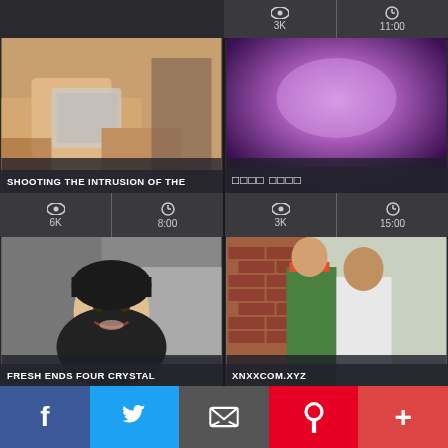[Figure (screenshot): Video thumbnail grid layout with 4 video cards and a social sharing bottom bar]
3K
11:00
[Figure (photo): Blurred/censored intimate photo thumbnail]
SHOOTING THE INTRUSION OF THE
[Figure (photo): Purple/violet blurred abstract thumbnail]
□□□□ □□□□
6K
8:00
3K
15:00
[Figure (photo): Black and white photo of smiling Asian woman]
FRESH ENDS FOUR CRYSTAL
[Figure (photo): Outdoor photo of couple near brick wall]
XNXXCOM.XYZ